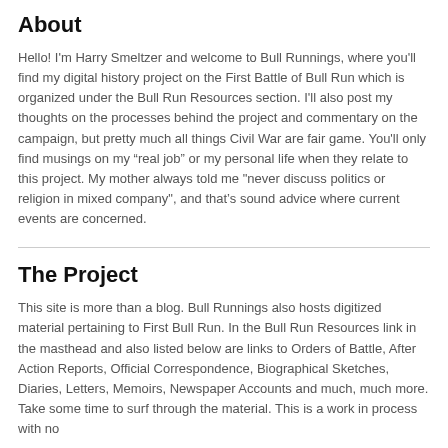About
Hello! I'm Harry Smeltzer and welcome to Bull Runnings, where you'll find my digital history project on the First Battle of Bull Run which is organized under the Bull Run Resources section. I'll also post my thoughts on the processes behind the project and commentary on the campaign, but pretty much all things Civil War are fair game. You'll only find musings on my “real job” or my personal life when they relate to this project. My mother always told me "never discuss politics or religion in mixed company", and that’s sound advice where current events are concerned.
The Project
This site is more than a blog. Bull Runnings also hosts digitized material pertaining to First Bull Run. In the Bull Run Resources link in the masthead and also listed below are links to Orders of Battle, After Action Reports, Official Correspondence, Biographical Sketches, Diaries, Letters, Memoirs, Newspaper Accounts and much, much more. Take some time to surf through the material. This is a work in process with no